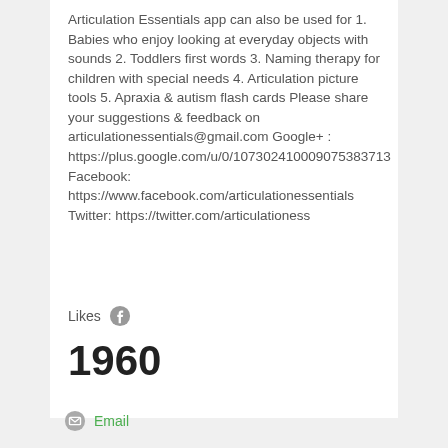Articulation Essentials app can also be used for 1. Babies who enjoy looking at everyday objects with sounds 2. Toddlers first words 3. Naming therapy for children with special needs 4. Articulation picture tools 5. Apraxia & autism flash cards Please share your suggestions & feedback on articulationessentials@gmail.com Google+ : https://plus.google.com/u/0/107302410009075383713 Facebook: https://www.facebook.com/articulationessentials Twitter: https://twitter.com/articulationess
Likes
1960
Email